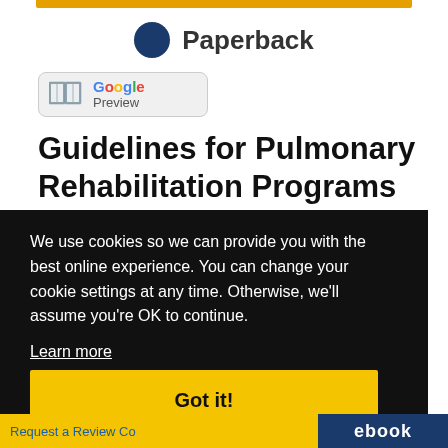[Figure (other): Gold horizontal bar at top of product listing area]
Paperback
[Figure (logo): Google Preview badge with book icon]
Guidelines for Pulmonary Rehabilitation Programs 5th
We use cookies so we can provide you with the best online experience. You can change your cookie settings at any time. Otherwise, we'll assume you're OK to continue.
Learn more
Got it!
Request a Review Co
ebook